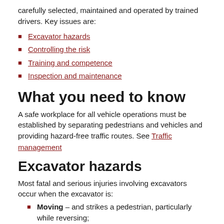carefully selected, maintained and operated by trained drivers. Key issues are:
Excavator hazards
Controlling the risk
Training and competence
Inspection and maintenance
What you need to know
A safe workplace for all vehicle operations must be established by separating pedestrians and vehicles and providing hazard-free traffic routes. See Traffic management
Excavator hazards
Most fatal and serious injuries involving excavators occur when the excavator is:
Moving – and strikes a pedestrian, particularly while reversing;